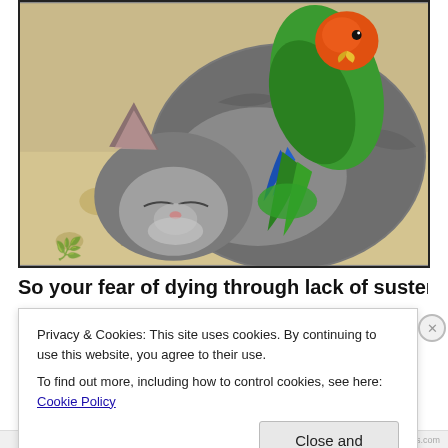[Figure (photo): A sleeping grey tabby kitten curled up, with a green and orange-headed lovebird/parrot perched on its back, both resting on a floral-patterned cushion or fabric.]
So your fear of dying through lack of sustenance was
Privacy & Cookies: This site uses cookies. By continuing to use this website, you agree to their use.
To find out more, including how to control cookies, see here: Cookie Policy
Close and accept